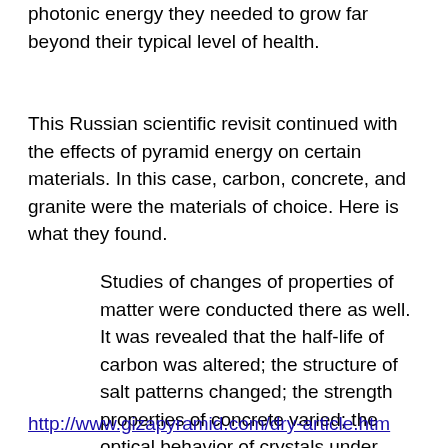photonic energy they needed to grow far beyond their typical level of health.
This Russian scientific revisit continued with the effects of pyramid energy on certain materials. In this case, carbon, concrete, and granite were the materials of choice. Here is what they found.
Studies of changes of properties of matter were conducted there as well. It was revealed that the half-life of carbon was altered; the structure of salt patterns changed; the strength properties of concrete varied; the optical behavior of crystals under consideration changed.
http://www.gizapyramid.com/dry-article.htm